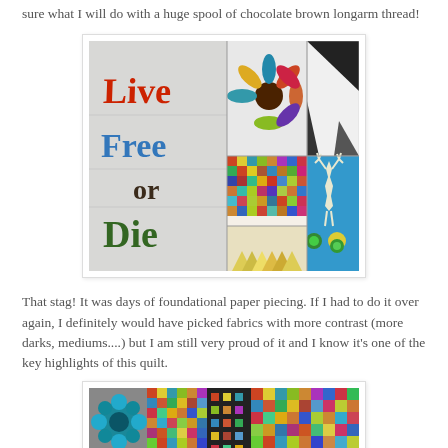sure what I will do with a huge spool of chocolate brown longarm thread!
[Figure (photo): A quilt featuring 'Live Free or Die' text blocks in red, blue, and green fabric letters alongside colorful patchwork blocks including a flower, stag, and geometric patterns on a blue background.]
That stag!  It was days of foundational paper piecing.  If I had to do it over again, I definitely would have picked fabrics with more contrast (more darks, mediums....) but I am still very proud of it and I know it's one of the key highlights of this quilt.
[Figure (photo): Close-up of colorful quilt blocks featuring flower and geometric patchwork patterns in teal, green, yellow, and multicolor fabrics.]